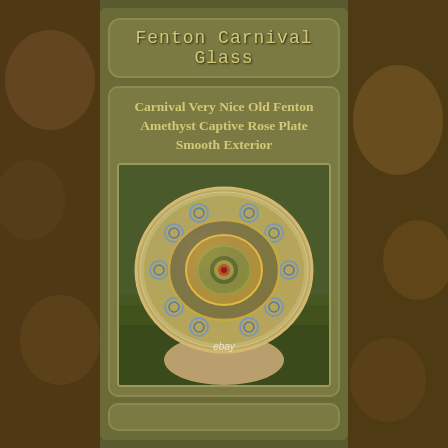Fenton Carnival Glass
Carnival Very Nice Old Fenton Amethyst Captive Rose Plate Smooth Exterior
[Figure (photo): Photo of a Fenton Amethyst Captive Rose Plate with Smooth Exterior, shown resting in a hand against a grassy background. The plate displays iridescent carnival glass with concentric circular rose patterns and a central eye motif. An eBay watermark is visible.]
ebay